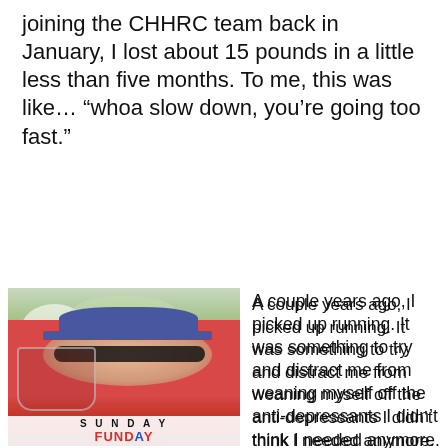joining the CHHRC team back in January, I lost about 15 pounds in a little less than five months. To me, this was like… "whoa slow down, you're going too fast."
[Figure (photo): A woman wearing sunglasses and a baseball cap, holding a wine glass with red wine, wearing a red shirt. Text overlay reads 'SUNDAY FUNDAY'. Background shows trees and grass.]
A couple years ago, I picked up running. It was something to try and distract me from weaning myself off the anti-depressants I didn't think I needed anymore. I ran
Running ther and i